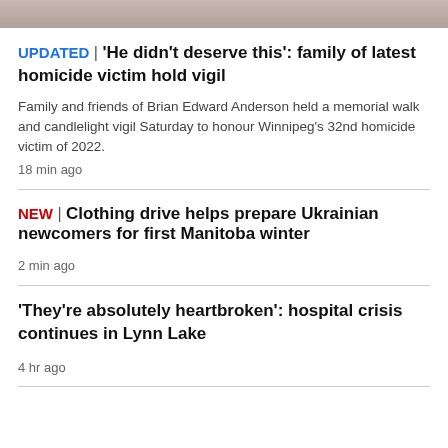[Figure (photo): Partial image strip at top of page]
UPDATED | 'He didn't deserve this': family of latest homicide victim hold vigil
Family and friends of Brian Edward Anderson held a memorial walk and candlelight vigil Saturday to honour Winnipeg's 32nd homicide victim of 2022.
18 min ago
NEW | Clothing drive helps prepare Ukrainian newcomers for first Manitoba winter
2 min ago
'They're absolutely heartbroken': hospital crisis continues in Lynn Lake
4 hr ago